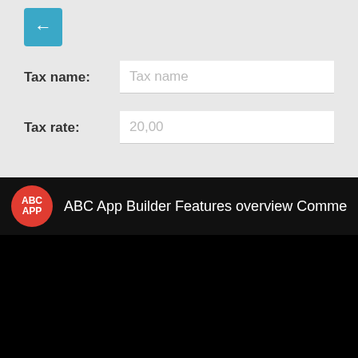[Figure (screenshot): Back navigation button - teal/blue arrow pointing left on a rounded square button]
Tax name:
Tax name
Tax rate:
20,00
[Figure (screenshot): ABC App Builder Features overview Commerce video thumbnail with red ABC APP circle logo and white title text on black background]